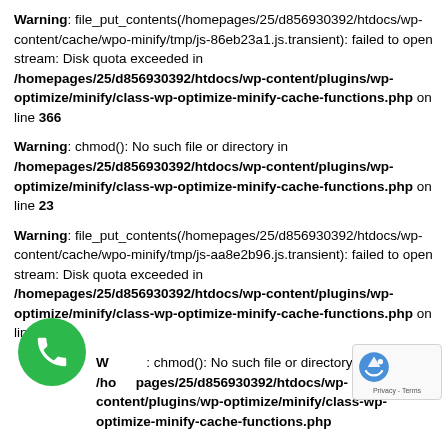Warning: file_put_contents(/homepages/25/d856930392/htdocs/wp-content/cache/wpo-minify/tmp/js-86eb23a1.js.transient): failed to open stream: Disk quota exceeded in /homepages/25/d856930392/htdocs/wp-content/plugins/wp-optimize/minify/class-wp-optimize-minify-cache-functions.php on line 366
Warning: chmod(): No such file or directory in /homepages/25/d856930392/htdocs/wp-content/plugins/wp-optimize/minify/class-wp-optimize-minify-cache-functions.php on line 23
Warning: file_put_contents(/homepages/25/d856930392/htdocs/wp-content/cache/wpo-minify/tmp/js-aa8e2b96.js.transient): failed to open stream: Disk quota exceeded in /homepages/25/d856930392/htdocs/wp-content/plugins/wp-optimize/minify/class-wp-optimize-minify-cache-functions.php on line 366
Warning: chmod(): No such file or directory in /homepages/25/d856930392/htdocs/wp-content/plugins/wp-optimize/minify/class-wp-optimize-minify-cache-functions.php